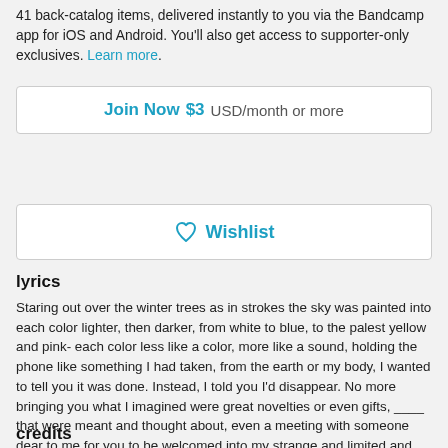41 back-catalog items, delivered instantly to you via the Bandcamp app for iOS and Android. You'll also get access to supporter-only exclusives. Learn more.
Join Now $3 USD/month or more
♥ Wishlist
lyrics
Staring out over the winter trees as in strokes the sky was painted into each color lighter, then darker, from white to blue, to the palest yellow and pink- each color less like a color, more like a sound, holding the phone like something I had taken, from the earth or my body, I wanted to tell you it was done. Instead, I told you I'd disappear. No more bringing you what I imagined were great novelties or even gifts, ____ that were meant and thought about, even a meeting with someone dear to me for you to be welcomed into my strange and limited and still very quiet and vast world- I imagined you and him sorting through my likeness, affixing different sentiments, both realizing the ways that you aligned, as... see more
credits